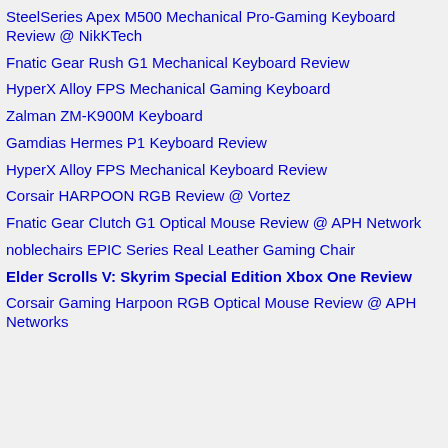SteelSeries Apex M500 Mechanical Pro-Gaming Keyboard Review @ NikKTech
Fnatic Gear Rush G1 Mechanical Keyboard Review
HyperX Alloy FPS Mechanical Gaming Keyboard
Zalman ZM-K900M Keyboard
Gamdias Hermes P1 Keyboard Review
HyperX Alloy FPS Mechanical Keyboard Review
Corsair HARPOON RGB Review @ Vortez
Fnatic Gear Clutch G1 Optical Mouse Review @ APH Network
noblechairs EPIC Series Real Leather Gaming Chair
Elder Scrolls V: Skyrim Special Edition Xbox One Review
Corsair Gaming Harpoon RGB Optical Mouse Review @ APH Networks